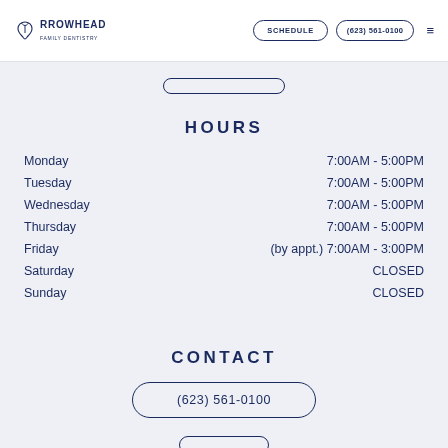Arrowhead Family Dentistry — SCHEDULE | (623) 561-0100
HOURS
| Day | Hours |
| --- | --- |
| Monday | 7:00AM - 5:00PM |
| Tuesday | 7:00AM - 5:00PM |
| Wednesday | 7:00AM - 5:00PM |
| Thursday | 7:00AM - 5:00PM |
| Friday | (by appt.) 7:00AM - 3:00PM |
| Saturday | CLOSED |
| Sunday | CLOSED |
CONTACT
(623) 561-0100